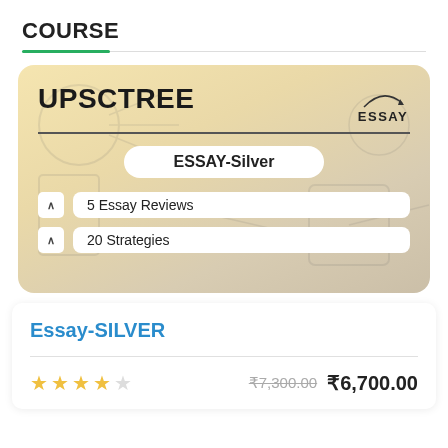COURSE
[Figure (illustration): UPSCTREE Essay-Silver course card with beige/tan gradient background, showing brand name UPSCTREE, ESSAY badge, subtitle box 'ESSAY-Silver', and two feature pills: '5 Essay Reviews' and '20 Strategies']
Essay-SILVER
₹7,300.00 ₹6,700.00